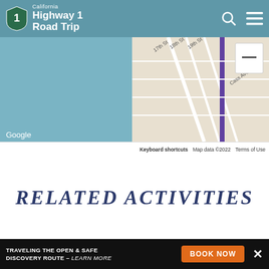California Highway 1 Road Trip
[Figure (map): Google Maps screenshot showing street map with 17th St, 18th St, 19th St, Cass Ave labels, purple route line. Shows Google branding, Keyboard shortcuts, Map data ©2022, Terms of Use footer.]
Related Activities
[Figure (photo): Partial photo of a beach/coastal scene with sand and vegetation]
TRAVELING THE OPEN & SAFE DISCOVERY ROUTE — LEARN MORE
BOOK NOW